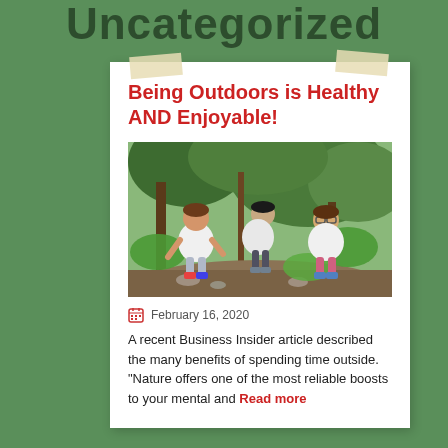Uncategorized
Being Outdoors is Healthy AND Enjoyable!
[Figure (photo): Three children crouching under trees in a wooded outdoor area, smiling at the camera]
February 16, 2020
A recent Business Insider article described the many benefits of spending time outside. “Nature offers one of the most reliable boosts to your mental and Read more